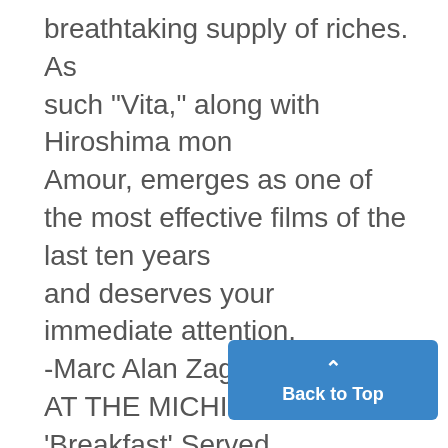breathtaking supply of riches. As such "Vita," along with Hiroshima mon Amour, emerges as one of the most effective films of the last ten years and deserves your immediate attention. -Marc Alan Zagoren AT THE MICHIGAN: 'Breakfast' Served

To0 Hungry Publi1c ONCE AGAIN the West Coast ha the East with its cameras and stuff, this time to record an amusing